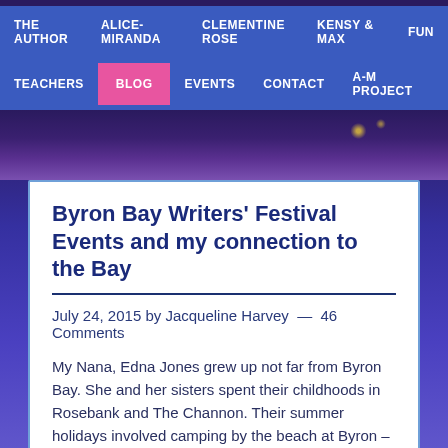THE AUTHOR | ALICE-MIRANDA | CLEMENTINE ROSE | KENSY & MAX | FUN
TEACHERS | BLOG | EVENTS | CONTACT | A-M PROJECT
Byron Bay Writers' Festival Events and my connection to the Bay
July 24, 2015 by Jacqueline Harvey — 46 Comments
My Nana, Edna Jones grew up not far from Byron Bay. She and her sisters spent their childhoods in Rosebank and The Channon. Their summer holidays involved camping by the beach at Byron – although back then there was a whaling station, so